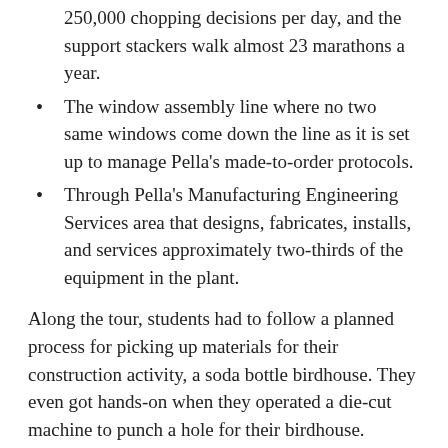250,000 chopping decisions per day, and the support stackers walk almost 23 marathons a year.
The window assembly line where no two same windows come down the line as it is set up to manage Pella's made-to-order protocols.
Through Pella's Manufacturing Engineering Services area that designs, fabricates, installs, and services approximately two-thirds of the equipment in the plant.
Along the tour, students had to follow a planned process for picking up materials for their construction activity, a soda bottle birdhouse. They even got hands-on when they operated a die-cut machine to punch a hole for their birdhouse.
“We gave the students the opportunity to see the manufacturing process in person and then gave them a project to put their experience in action,” added Webb.